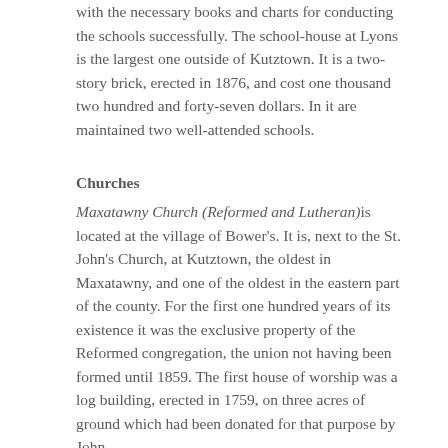with the necessary books and charts for conducting the schools successfully. The school-house at Lyons is the largest one outside of Kutztown. It is a two-story brick, erected in 1876, and cost one thousand two hundred and forty-seven dollars. In it are maintained two well-attended schools.
Churches
Maxatawny Church (Reformed and Lutheran) is located at the village of Bower's. It is, next to the St. John's Church, at Kutztown, the oldest in Maxatawny, and one of the oldest in the eastern part of the county. For the first one hundred years of its existence it was the exclusive property of the Reformed congregation, the union not having been formed until 1859. The first house of worship was a log building, erected in 1759, on three acres of ground which had been donated for that purpose by John